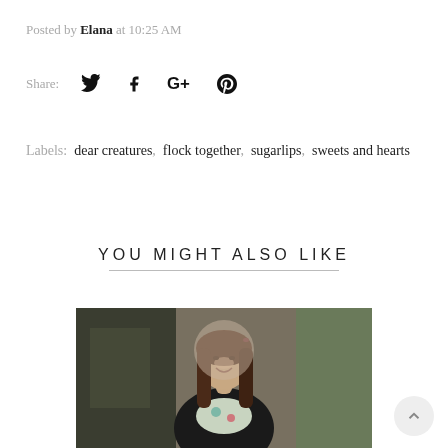Posted by Elana at 10:25 AM
Share:
Labels: dear creatures, flock together, sugarlips, sweets and hearts
YOU MIGHT ALSO LIKE
[Figure (photo): Young woman with long brown hair smiling outdoors, wearing a black leather jacket over a floral top, with blurred greenery in background]